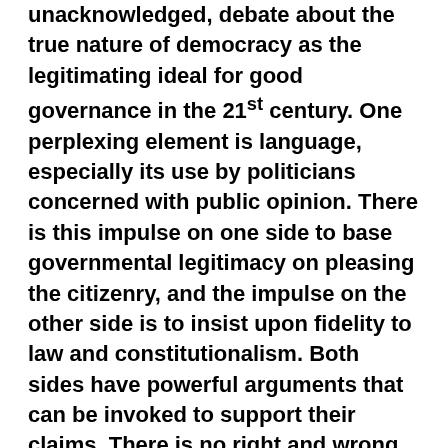unacknowledged, debate about the true nature of democracy as the legitimating ideal for good governance in the 21st century. One perplexing element is language, especially its use by politicians concerned with public opinion. There is this impulse on one side to base governmental legitimacy on pleasing the citizenry, and the impulse on the other side is to insist upon fidelity to law and constitutionalism. Both sides have powerful arguments that can be invoked to support their claims. There is no right and wrong, which is infuriating for polarized discourse that can only raise its voice to shout in higher decibels, but can never reach a conclusion of the sort that might resolve a scientific debate or solve a mathematical puzzle. Each side is motivated by unshakeable convictions, and has no disposition to listen, much less appreciate